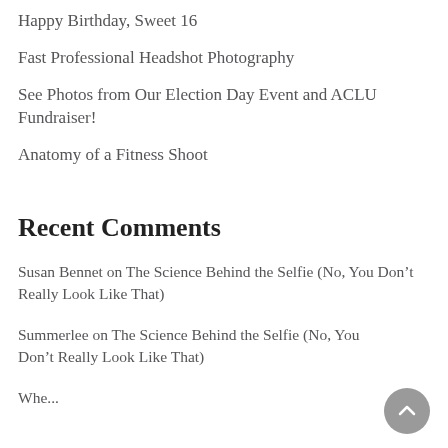Happy Birthday, Sweet 16
Fast Professional Headshot Photography
See Photos from Our Election Day Event and ACLU Fundraiser!
Anatomy of a Fitness Shoot
Recent Comments
Susan Bennet on The Science Behind the Selfie (No, You Don’t Really Look Like That)
Summerlee on The Science Behind the Selfie (No, You Don’t Really Look Like That)
Whe...